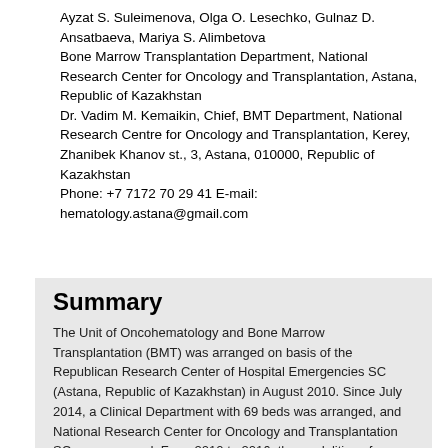Ayzat S. Suleimenova, Olga O. Lesechko, Gulnaz D. Ansatbaeva, Mariya S. Alimbetova
Bone Marrow Transplantation Department, National Research Center for Oncology and Transplantation, Astana, Republic of Kazakhstan
Dr. Vadim M. Kemaikin, Chief, BMT Department, National Research Centre for Oncology and Transplantation, Kerey, Zhanibek Khanov st., 3, Astana, 010000, Republic of Kazakhstan
Phone: +7 7172 70 29 41 E-mail: hematology.astana@gmail.com
Summary
The Unit of Oncohematology and Bone Marrow Transplantation (BMT) was arranged on basis of the Republican Research Center of Hospital Emergencies SC (Astana, Republic of Kazakhstan) in August 2010. Since July 2014, a Clinical Department with 69 beds was arranged, and National Research Center for Oncology and Transplantation SC was arranged. From 2010 to 2016, the modalities of hematopoietic stem cell transplantation have been